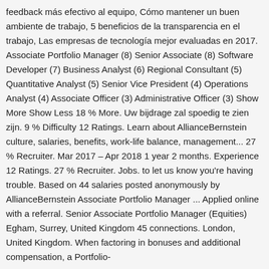feedback más efectivo al equipo, Cómo mantener un buen ambiente de trabajo, 5 beneficios de la transparencia en el trabajo, Las empresas de tecnología mejor evaluadas en 2017. Associate Portfolio Manager (8) Senior Associate (8) Software Developer (7) Business Analyst (6) Regional Consultant (5) Quantitative Analyst (5) Senior Vice President (4) Operations Analyst (4) Associate Officer (3) Administrative Officer (3) Show More Show Less 18 % More. Uw bijdrage zal spoedig te zien zijn. 9 % Difficulty 12 Ratings. Learn about AllianceBernstein culture, salaries, benefits, work-life balance, management... 27 % Recruiter. Mar 2017 – Apr 2018 1 year 2 months. Experience 12 Ratings. 27 % Recruiter. Jobs. to let us know you're having trouble. Based on 44 salaries posted anonymously by AllianceBernstein Associate Portfolio Manager ... Applied online with a referral. Senior Associate Portfolio Manager (Equities) Egham, Surrey, United Kingdom 45 connections. London, United Kingdom. When factoring in bonuses and additional compensation, a Portfolio-